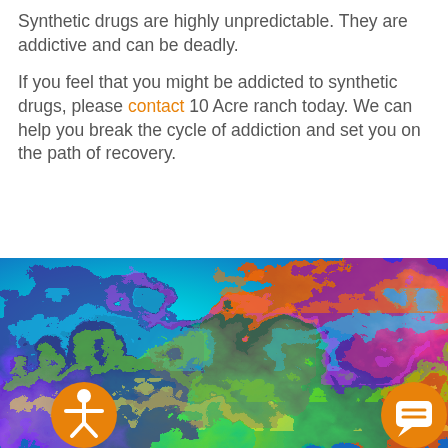Synthetic drugs are highly unpredictable. They are addictive and can be deadly.
If you feel that you might be addicted to synthetic drugs, please contact 10 Acre ranch today. We can help you break the cycle of addiction and set you on the path of recovery.
[Figure (photo): Colorful swirling abstract paint image with vivid blues, greens, yellows, oranges, pinks and purples resembling a psychedelic marbled pattern. Two orange circular buttons overlay the bottom corners: an accessibility icon (person with arms out) on the left and a chat bubble icon on the right.]